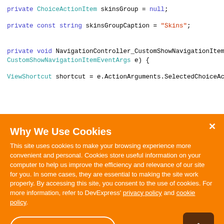private ChoiceActionItem skinsGroup = null;
private const string skinsGroupCaption = "Skins";
private void NavigationController_CustomShowNavigationItem(object sender, CustomShowNavigationItemEventArgs e) {
ViewShortcut shortcut = e.ActionArguments.SelectedChoiceActionItem.Data as ViewShortcut;
Why We Use Cookies
This site uses cookies to make your browsing experience more convenient and personal. Cookies store useful information on your computer to help us improve the efficiency and relevance of our site for you. In some cases, they are essential to making the site work properly. By accessing this site, you consent to the use of cookies. For more information, refer to DevExpress' privacy policy and cookie policy.